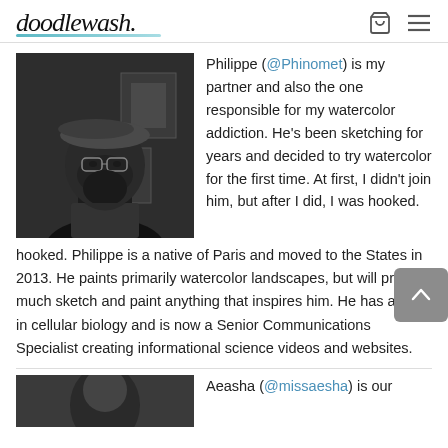doodlewash.
[Figure (photo): Black and white portrait photo of a man wearing a beret and glasses, with a beard, standing in front of framed artwork on a wall]
Philippe (@Phinomet) is my partner and also the one responsible for my watercolor addiction. He's been sketching for years and decided to try watercolor for the first time. At first, I didn't join him, but after I did, I was hooked. Philippe is a native of Paris and moved to the States in 2013. He paints primarily watercolor landscapes, but will pretty much sketch and paint anything that inspires him. He has a PhD in cellular biology and is now a Senior Communications Specialist creating informational science videos and websites.
Aeasha (@missaesha) is our